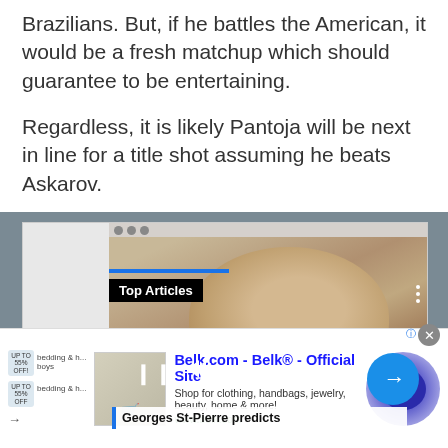Brazilians. But, if he battles the American, it would be a fresh matchup which should guarantee to be entertaining.
Regardless, it is likely Pantoja will be next in line for a title shot assuming he beats Askarov.
[Figure (screenshot): Video player screenshot showing a person smiling, with 'Top Articles' badge overlay, browser window frame, pause/mute controls, arrow button, and 'Georges St-Pierre predicts' caption at bottom.]
[Figure (other): Advertisement for Belk.com - Belk® - Official Site. Shop for clothing, handbags, jewelry, beauty, home & more! www.belk.com. Shows ad image, text, and circular arrow button.]